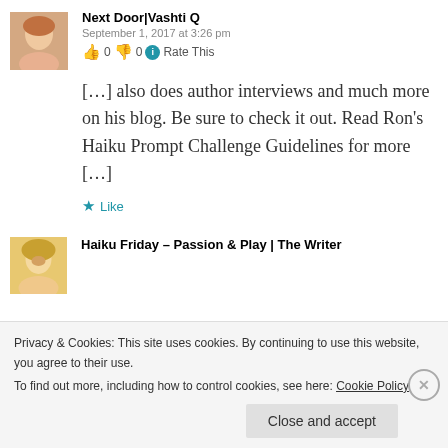[Figure (photo): Small avatar/profile photo of a person with reddish hair]
Next Door|Vashti Q
September 1, 2017 at 3:26 pm
👍 0 👎 0 ℹ Rate This
[…] also does author interviews and much more on his blog. Be sure to check it out. Read Ron's Haiku Prompt Challenge Guidelines for more […]
★ Like
[Figure (photo): Small avatar/profile photo of a person with blonde hair]
Haiku Friday – Passion & Play | The Writer
Privacy & Cookies: This site uses cookies. By continuing to use this website, you agree to their use.
To find out more, including how to control cookies, see here: Cookie Policy
Close and accept